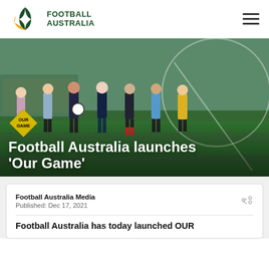FOOTBALL AUSTRALIA
[Figure (photo): Group of seven women football players standing on a green pitch, smiling at the camera, wearing various football kits. A yellow 'Our Game' diamond badge is visible in the lower left. Decorative white geometric lines overlay the image.]
Football Australia launches 'Our Game'
Football Australia Media
Published: Dec 17, 2021
Football Australia has today launched OUR